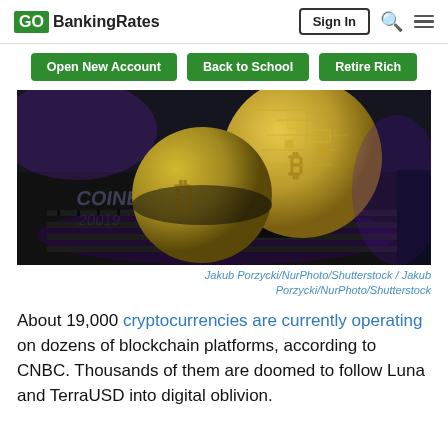GOBankingRates | Sign In
Open New Account
Back to School
Retire Rich
[Figure (photo): Two gold Bitcoin coins resting on a dark laptop keyboard with circuit board engravings, with a glowing blue/purple light reflection and the word 'Coinbase' visible below]
Jakub Porzycki/NurPhoto/Shutterstock / Jakub Porzycki/NurPhoto/Shutterstock
About 19,000 cryptocurrencies are currently operating on dozens of blockchain platforms, according to CNBC. Thousands of them are doomed to follow Luna and TerraUSD into digital oblivion.